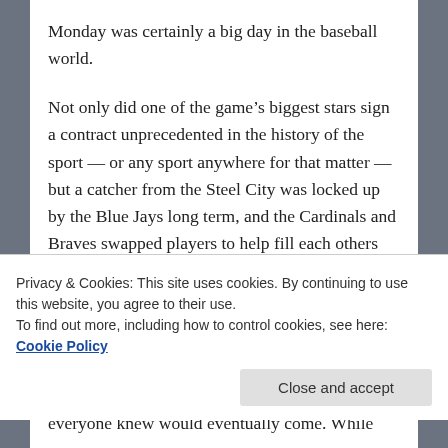Monday was certainly a big day in the baseball world.
Not only did one of the game’s biggest stars sign a contract unprecedented in the history of the sport — or any sport anywhere for that matter — but a catcher from the Steel City was locked up by the Blue Jays long term, and the Cardinals and Braves swapped players to help fill each others needs.
It was all very interesting to follow.
Giancarlo Stanton kicked off the news filled day, finally signing the mammoth contract that everyone knew would eventually come. While many
Privacy & Cookies: This site uses cookies. By continuing to use this website, you agree to their use.
To find out more, including how to control cookies, see here: Cookie Policy
Close and accept